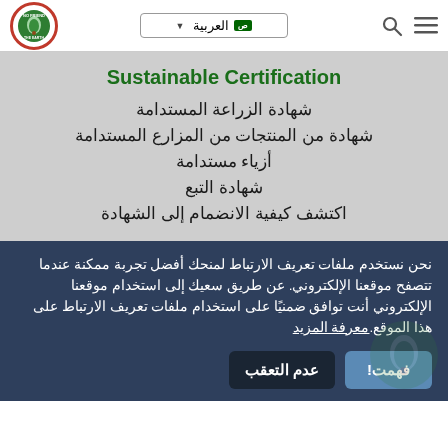Rainforest Alliance logo | العربية language selector | Search icon | Menu icon
Sustainable Certification
شهادة الزراعة المستدامة
شهادة من المنتجات من المزارع المستدامة
أزياء مستدامة
شهادة التبع
اكتشف كيفية الانضمام إلى الشهادة
نحن نستخدم ملفات تعريف الارتباط لمنحك أفضل تجربة ممكنة عندما تتصفح موقعنا الإلكتروني. عن طريق سعيك إلى استخدام موقعنا الإلكتروني أنت توافق ضمنيًا على استخدام ملفات تعريف الارتباط على هذا الموقع. معرفة المزيد
فهمت! | عدم التعقب